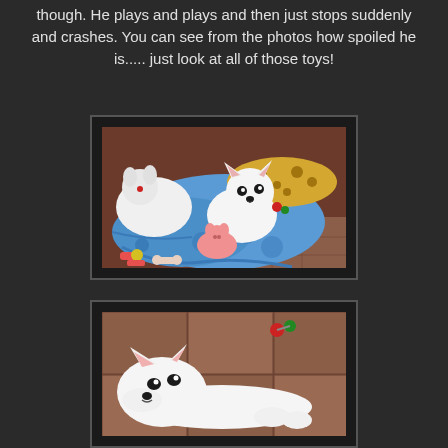though. He plays and plays and then just stops suddenly and crashes. You can see from the photos how spoiled he is..... just look at all of those toys!
[Figure (photo): A small white puppy lying among several stuffed animal toys on a blue patterned blanket on a wooden floor. Toys include a white stuffed animal, a leopard-print stuffed animal, and a pink pig.]
[Figure (photo): A small white puppy lying on a tiled floor, looking at the camera, with a colorful toy visible near its head.]